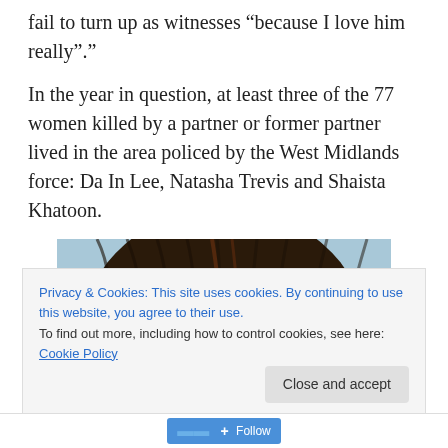fail to turn up as witnesses “because I love him really”.”
In the year in question, at least three of the 77 women killed by a partner or former partner lived in the area policed by the West Midlands force: Da In Lee, Natasha Trevis and Shaista Khatoon.
[Figure (photo): Close-up photo of a woman with braided/twisted dark hair, facing slightly downward, partially cropped. The image shows her face and hair from approximately the top of the head to just below the eyebrows.]
Privacy & Cookies: This site uses cookies. By continuing to use this website, you agree to their use.
To find out more, including how to control cookies, see here: Cookie Policy
Close and accept
+ Follow